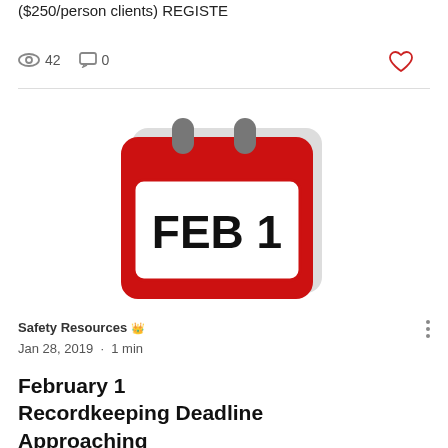($250/person clients) REGISTE
42 views  0 comments
[Figure (illustration): Red calendar icon showing FEB 1]
Safety Resources 👑
Jan 28, 2019 · 1 min
February 1 Recordkeeping Deadline Approaching